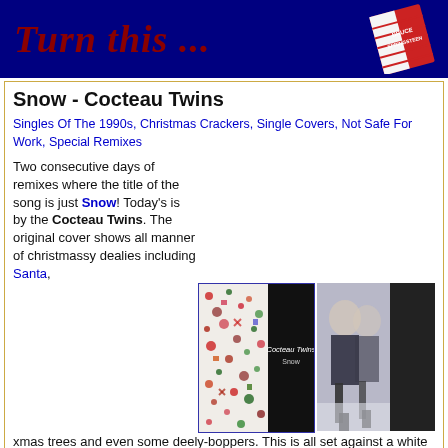[Figure (screenshot): Dark blue banner with 'Turn this ...' text in dark red italic serif font on left, and a tilted album/book cover image on the right]
Snow - Cocteau Twins
Singles Of The 1990s, Christmas Crackers, Single Covers, Not Safe For Work, Special Remixes
Two consecutive days of remixes where the title of the song is just Snow! Today's is by the Cocteau Twins. The original cover shows all manner of christmassy dealies including Santa, xmas trees and even some deely-boppers. This is all set against a white background that is presumably meant to illustrate snow. We prefer the remix in which there is snow on the ground and two girls (are they twins?) hugging each other for warmth. They need to keep warm as they are only wearing high-heeled boots. Piercing!
[Figure (photo): Cocteau Twins Snow single cover - christmassy pattern on white background with black section on right showing Cocteau Twins Snow text]
[Figure (photo): Alternative cover showing two girls in the snow wearing high-heeled boots]
view entry ( 1089 views )   |   Snow